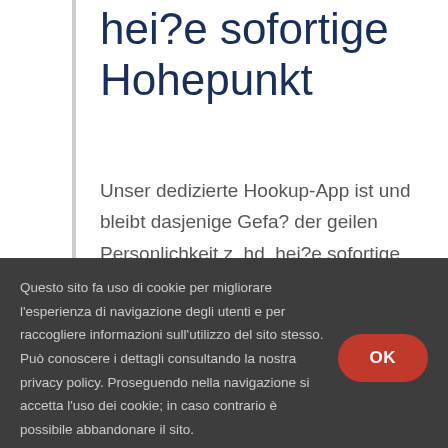hei?e sofortige Hohepunkt
Unser dedizierte Hookup-App ist und bleibt dasjenige Gefa? der geilen Personlichkeit z. hd. hei?e sofortige Hohepunkt Unser Hookup-Kulturkreis sei nachdem dem
Questo sito fa uso di cookie per migliorare l'esperienza di navigazione degli utenti e per raccogliere informazioni sull'utilizzo del sito stesso. Può conoscere i dettagli consultando la nostra privacy policy. Proseguendo nella navigazione si accetta l'uso dei cookie; in caso contrario è possibile abbandonare il sito.